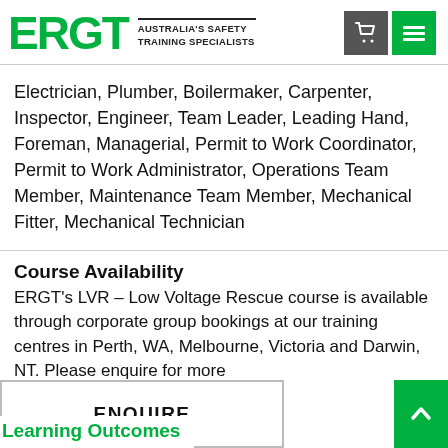[Figure (logo): ERGT logo with green text and tagline 'AUSTRALIA'S SAFETY TRAINING SPECIALISTS']
Electrician, Plumber, Boilermaker, Carpenter, Inspector, Engineer, Team Leader, Leading Hand, Foreman, Managerial, Permit to Work Coordinator, Permit to Work Administrator, Operations Team Member, Maintenance Team Member, Mechanical Fitter, Mechanical Technician
Course Availability
ERGT's LVR – Low Voltage Rescue course is available through corporate group bookings at our training centres in Perth, WA, Melbourne, Victoria and Darwin, NT. Please enquire for more
Learning Outcomes